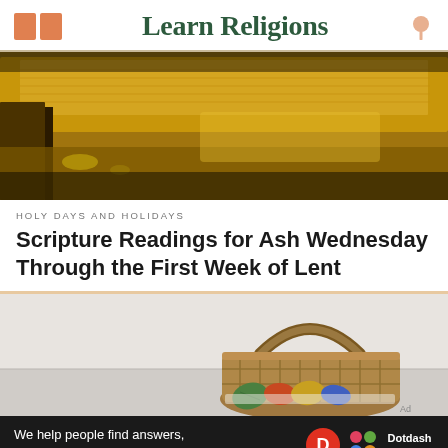Learn Religions
[Figure (photo): Close-up of a golden open Bible or religious book resting on a surface with warm golden-brown tones]
HOLY DAYS AND HOLIDAYS
Scripture Readings for Ash Wednesday Through the First Week of Lent
[Figure (photo): A wicker basket filled with colorful painted Easter eggs on a light background]
We help people find answers, solve problems and get inspired.